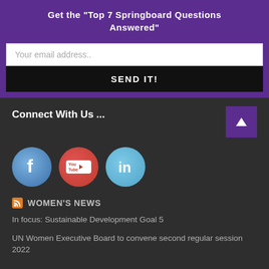Get the "Top 7 Springboard Questions Answered"
Your email address..
SEND IT!
Connect With Us ...
[Figure (logo): Facebook, YouTube, and LinkedIn social media icons as circular logos]
WOMEN'S NEWS
In focus: Sustainable Development Goal 5
UN Women Executive Board to convene second regular session 2022